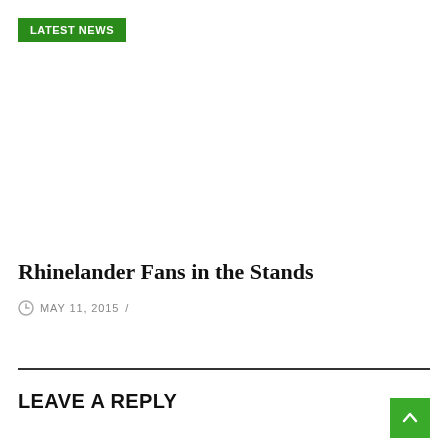LATEST NEWS
Rhinelander Fans in the Stands
MAY 11, 2015 /
LEAVE A REPLY